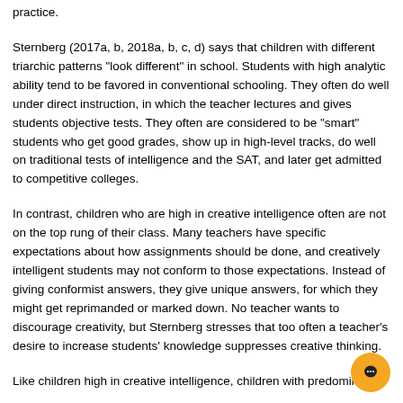practice.
Sternberg (2017a, b, 2018a, b, c, d) says that children with different triarchic patterns “look different” in school. Students with high analytic ability tend to be favored in conventional schooling. They often do well under direct instruction, in which the teacher lectures and gives students objective tests. They often are considered to be “smart” students who get good grades, show up in high-level tracks, do well on traditional tests of intelligence and the SAT, and later get admitted to competitive colleges.
In contrast, children who are high in creative intelligence often are not on the top rung of their class. Many teachers have specific expectations about how assignments should be done, and creatively intelligent students may not conform to those expectations. Instead of giving conformist answers, they give unique answers, for which they might get reprimanded or marked down. No teacher wants to discourage creativity, but Sternberg stresses that too often a teacher’s desire to increase students’ knowledge suppresses creative thinking.
Like children high in creative intelligence, children with predominant...